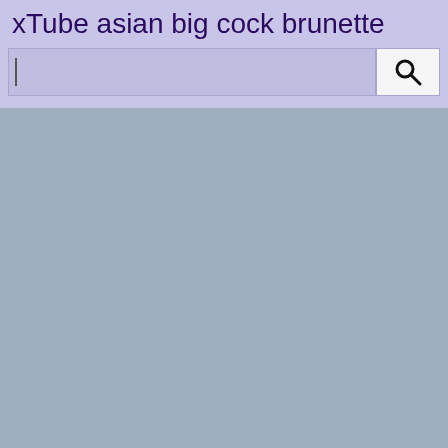xTube asian big cock brunette
[Figure (screenshot): Search bar with text input field and search button with magnifying glass icon]
[Figure (photo): Large gray-blue area occupying the lower portion of the page, appears to be a loading or blank content area]